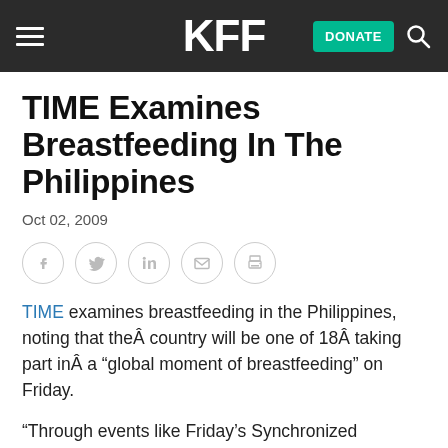KFF | DONATE
TIME Examines Breastfeeding In The Philippines
Oct 02, 2009
[Figure (infographic): Social sharing icons: Facebook, Twitter, LinkedIn, Email, Print — each in a light grey circle outline]
TIME examines breastfeeding in the Philippines, noting that theÂ country will be one of 18Â taking part inÂ a “global moment of breastfeeding” on Friday.
“Through events like Friday’s Synchronized Breastfeeding Worldwide, advocates … have